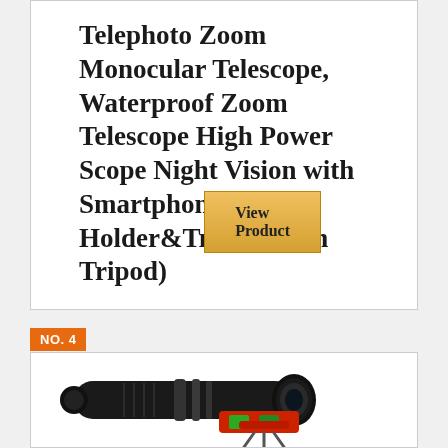Telephoto Zoom Monocular Telescope, Waterproof Zoom Telescope High Power Scope Night Vision with Smartphone Holder&Tripod (with Tripod)
View Product
NO. 4
[Figure (photo): A black monocular telescope/zoom scope with a red and green smartphone holder/tripod attachment clipped onto it, photographed on white background.]